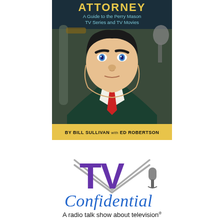[Figure (illustration): Book cover illustration showing a caricature of Perry Mason (a large man in a dark suit and red tie with blue eyes), with text: ATTORNEY - A Guide to the Perry Mason TV Series and TV Movies. By Bill Sullivan with Ed Robertson. Background shows a courtroom with gavel and microphone.]
[Figure (logo): TV Confidential logo: large bold 'TV' letters in purple with silver antenna/arrow chevrons, italic script 'Confidential' in blue, and tagline 'A radio talk show about television' below.]
A radio talk show about television